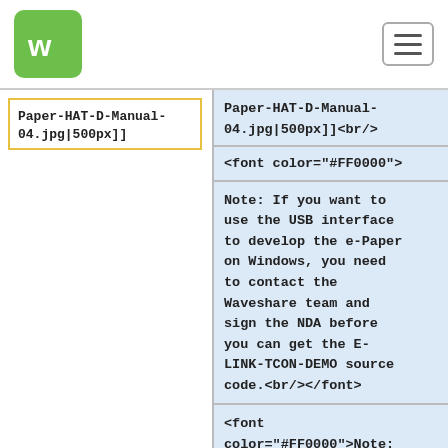Waveshare logo and navigation
–Paper-HAT-D-Manual-04.jpg|500px]]
+Paper-HAT-D-Manual-04.jpg|500px]]<br/>
+<font color="#FF0000">
Note: If you want to use the USB interface to develop the e-Paper on Windows, you need to contact the Waveshare team and sign the NDA before you can get the E-LINK-TCON-DEMO source code.<br/></font>
<font color="#FF0000">Note: Currently not available for individual users.